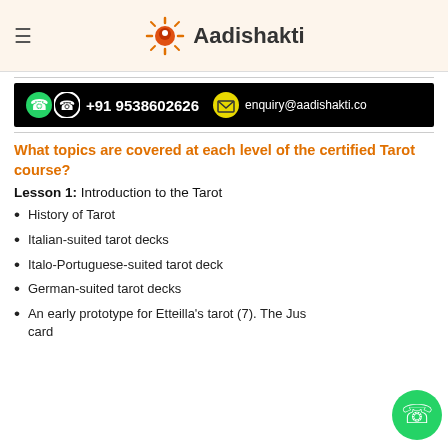Aadishakti
[Figure (infographic): Contact banner with WhatsApp and phone icons showing +91 9538602626 and email enquiry@aadishakti.co on black background]
What topics are covered at each level of the certified Tarot course?
Lesson 1: Introduction to the Tarot
History of Tarot
Italian-suited tarot decks
Italo-Portuguese-suited tarot deck
German-suited tarot decks
An early prototype for Etteilla's tarot (7). The Jus card